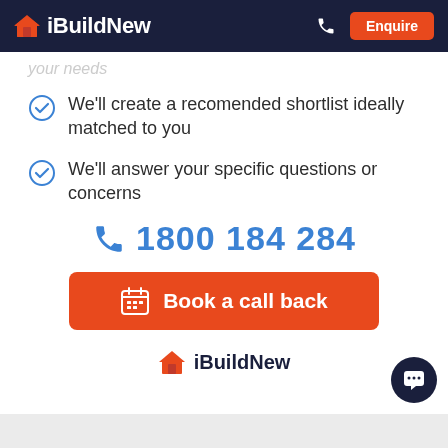iBuildNew | Enquire
your needs
We'll create a recomended shortlist ideally matched to you
We'll answer your specific questions or concerns
📞 1800 184 284
Book a call back
[Figure (logo): iBuildNew logo with orange house icon]